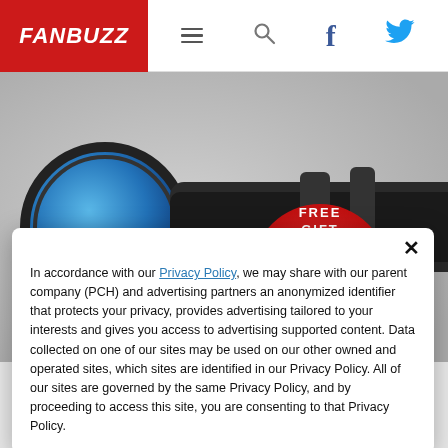FAN BUZZ — navigation header with logo, hamburger menu, search, Facebook, Twitter icons
[Figure (photo): Advertisement banner showing a rifle scope with blue lens and a red circle with 'FREE GIFT' text showing a scope mount, with a red 'BUY NOW' button]
In accordance with our Privacy Policy, we may share with our parent company (PCH) and advertising partners an anonymized identifier that protects your privacy, provides advertising tailored to your interests and gives you access to advertising supported content. Data collected on one of our sites may be used on our other owned and operated sites, which sites are identified in our Privacy Policy. All of our sites are governed by the same Privacy Policy, and by proceeding to access this site, you are consenting to that Privacy Policy.